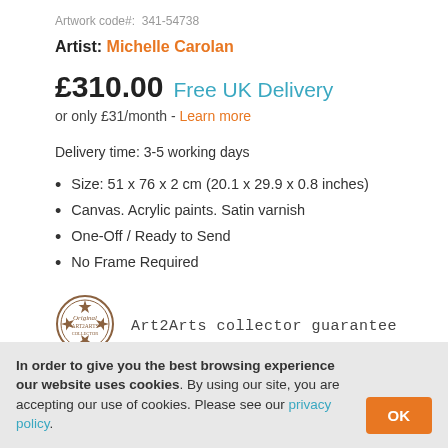Artwork code#:  341-54738
Artist: Michelle Carolan
£310.00 Free UK Delivery
or only £31/month - Learn more
Delivery time: 3-5 working days
Size: 51 x 76 x 2 cm (20.1 x 29.9 x 0.8 inches)
Canvas. Acrylic paints. Satin varnish
One-Off / Ready to Send
No Frame Required
[Figure (logo): Original stamp/seal badge logo for Art2Arts collector guarantee]
Art2Arts collector guarantee
ADD TO BASKET
In order to give you the best browsing experience our website uses cookies. By using our site, you are accepting our use of cookies. Please see our privacy policy.